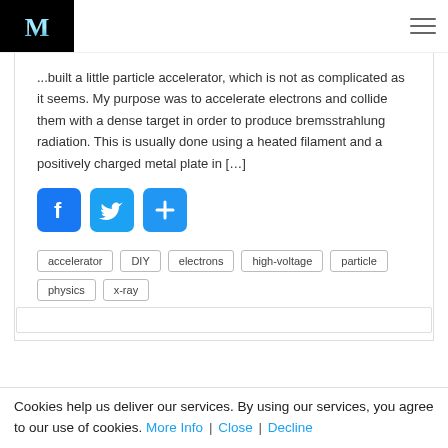M [logo]
...built a little particle accelerator, which is not as complicated as it seems. My purpose was to accelerate electrons and collide them with a dense target in order to produce bremsstrahlung radiation. This is usually done using a heated filament and a positively charged metal plate in [...]
[Figure (other): Social share buttons: Facebook (blue f), Twitter (blue bird), Share/Plus (blue +)]
accelerator
DIY
electrons
high-voltage
particle
physics
x-ray
by Michele Lizzit · Published Saturday February 4th, 2017
Cookies help us deliver our services. By using our services, you agree to our use of cookies. More Info | Close | Decline